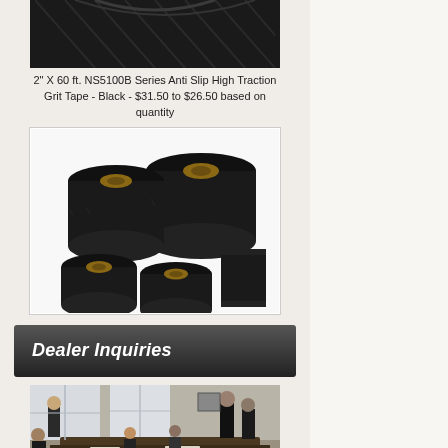[Figure (photo): Top portion of black anti-slip grit tape roll product photo (partially visible, cropped at top)]
2" X 60 ft. NS5100B Series Anti Slip High Traction Grit Tape - Black - $31.50 to $26.50 based on quantity
[Figure (photo): Multiple rolls of black anti-slip grit tape arranged in a group, showing various sizes]
[Figure (photo): Dealer Inquiries banner button - dark gradient background with white italic bold text]
[Figure (photo): Business meeting room photo showing people seated around a conference table]
[Figure (photo): Top Products banner button - dark gradient background with white italic bold text]